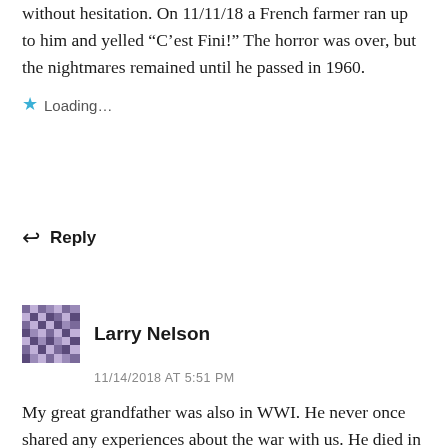without hesitation. On 11/11/18 a French farmer ran up to him and yelled “C’est Fini!” The horror was over, but the nightmares remained until he passed in 1960.
Loading…
Reply
Larry Nelson
11/14/2018 AT 5:51 PM
My great grandfather was also in WWI. He never once shared any experiences about the war with us. He died in 1994 at 99 years old, never once letting us know what he went thru.
Loading…